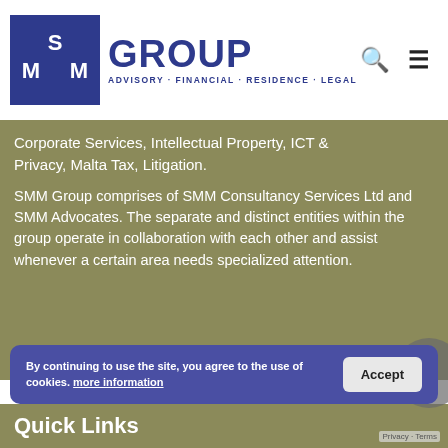[Figure (logo): SMM Group logo with blue square containing white SMM letters, and 'GROUP' text beside it, tagline 'ADVISORY · FINANCIAL · RESIDENCE · LEGAL']
Corporate Services, Intellectual Property, ICT & Privacy, Malta Tax, Litigation.
SMM Group comprises of SMM Consultancy Services Ltd and SMM Advocates. The separate and distinct entities within the group operate in collaboration with each other and assist whenever a certain area needs specialized attention.
By continuing to use the site, you agree to the use of cookies. more information
Quick Links